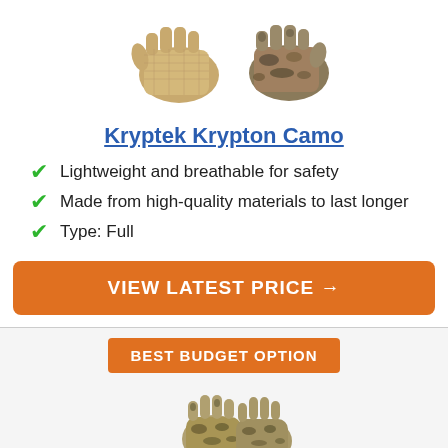[Figure (photo): Two camouflage hunting gloves displayed against white background — one showing the back and one showing the palm]
Kryptek Krypton Camo
Lightweight and breathable for safety
Made from high-quality materials to last longer
Type: Full
VIEW LATEST PRICE →
BEST BUDGET OPTION
[Figure (photo): Camouflage hunting gloves shown from above against light background]